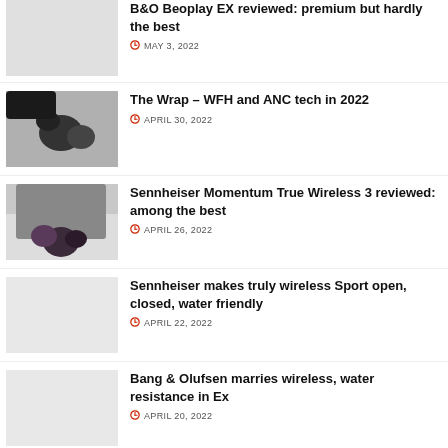B&O Beoplay EX reviewed: premium but hardly the best — MAY 3, 2022
The Wrap – WFH and ANC tech in 2022 — APRIL 30, 2022
Sennheiser Momentum True Wireless 3 reviewed: among the best — APRIL 26, 2022
Sennheiser makes truly wireless Sport open, closed, water friendly — APRIL 22, 2022
Bang & Olufsen marries wireless, water resistance in Ex — APRIL 20, 2022
The Wrap – Hear-through Sony's